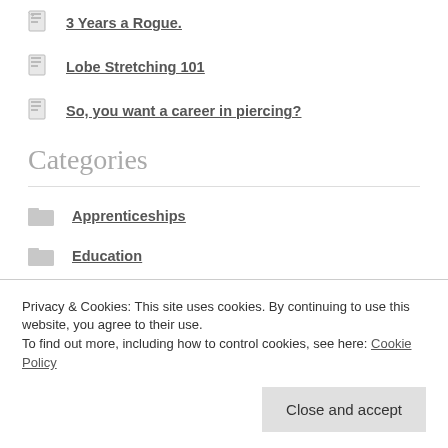3 Years a Rogue.
Lobe Stretching 101
So, you want a career in piercing?
Categories
Apprenticeships
Education
Interview
Privacy & Cookies: This site uses cookies. By continuing to use this website, you agree to their use.
To find out more, including how to control cookies, see here: Cookie Policy
Close and accept